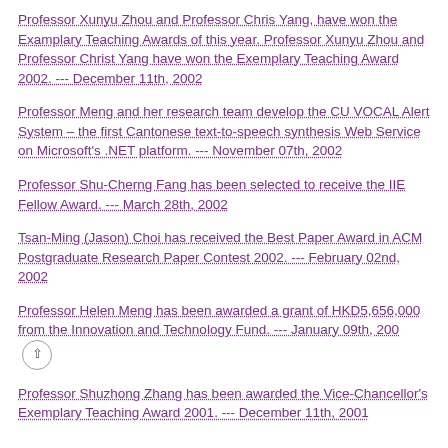Professor Xunyu Zhou and Professor Chris Yang, have won the Examplary Teaching Awards of this year. Professor Xunyu Zhou and Professor Christ Yang have won the Exemplary Teaching Award 2002. --- December 11th, 2002
Professor Meng and her research team develop the CU VOCAL Alert System – the first Cantonese text-to-speech synthesis Web Service on Microsoft's .NET platform. --- November 07th, 2002
Professor Shu-Cherng Fang has been selected to receive the IIE Fellow Award. --- March 28th, 2002
Tsan-Ming (Jason) Choi has received the Best Paper Award in ACM Postgraduate Research Paper Contest 2002. --- February 02nd, 2002
Professor Helen Meng has been awarded a grant of HKD5,656,000 from the Innovation and Technology Fund. --- January 09th, 200 [scroll button]
Professor Shuzhong Zhang has been awarded the Vice-Chancellor's Exemplary Teaching Award 2001. --- December 11th, 2001